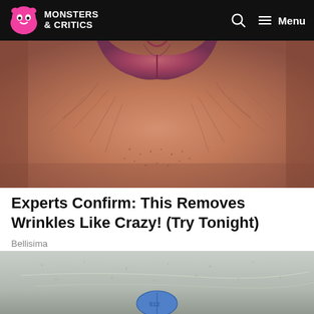Monsters & Critics
[Figure (photo): Close-up photo of wrinkled skin around a person's lips]
Experts Confirm: This Removes Wrinkles Like Crazy! (Try Tonight)
Bellisima
[Figure (photo): Close-up photo of skin with a blue pill visible at the bottom]